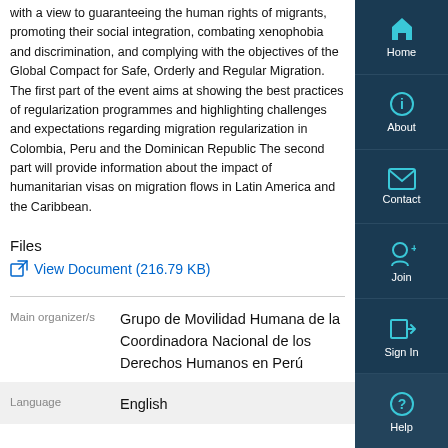with a view to guaranteeing the human rights of migrants, promoting their social integration, combating xenophobia and discrimination, and complying with the objectives of the Global Compact for Safe, Orderly and Regular Migration. The first part of the event aims at showing the best practices of regularization programmes and highlighting challenges and expectations regarding migration regularization in Colombia, Peru and the Dominican Republic The second part will provide information about the impact of humanitarian visas on migration flows in Latin America and the Caribbean.
Files
View Document (216.79 KB)
|  |  |
| --- | --- |
| Main organizer/s | Grupo de Movilidad Humana de la Coordinadora Nacional de los Derechos Humanos en Perú |
| Language | English |